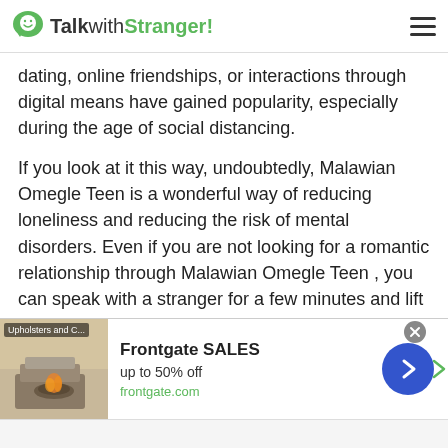TalkwithStranger!
dating, online friendships, or interactions through digital means have gained popularity, especially during the age of social distancing.
If you look at it this way, undoubtedly, Malawian Omegle Teen is a wonderful way of reducing loneliness and reducing the risk of mental disorders. Even if you are not looking for a romantic relationship through Malawian Omegle Teen , you can speak with a stranger for a few minutes and lift the emotional weight off of your chest.
Stranger cam chats are an excellent way of reaching out
[Figure (screenshot): Advertisement banner for Frontgate SALES - up to 50% off, frontgate.com, with outdoor furniture image and navigation arrow button]